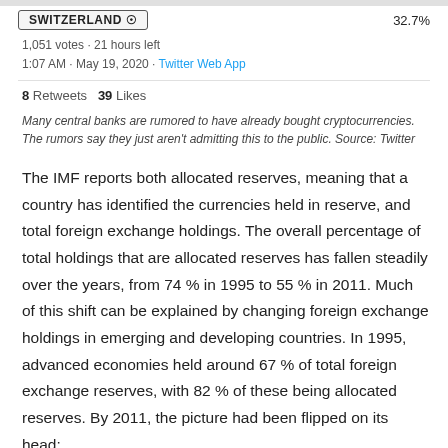SWITZERLAND ✓   32.7%
1,051 votes · 21 hours left
1:07 AM · May 19, 2020 · Twitter Web App
8 Retweets   39 Likes
Many central banks are rumored to have already bought cryptocurrencies. The rumors say they just aren't admitting this to the public. Source: Twitter
The IMF reports both allocated reserves, meaning that a country has identified the currencies held in reserve, and total foreign exchange holdings. The overall percentage of total holdings that are allocated reserves has fallen steadily over the years, from 74 % in 1995 to 55 % in 2011. Much of this shift can be explained by changing foreign exchange holdings in emerging and developing countries. In 1995, advanced economies held around 67 % of total foreign exchange reserves, with 82 % of these being allocated reserves. By 2011, the picture had been flipped on its head: